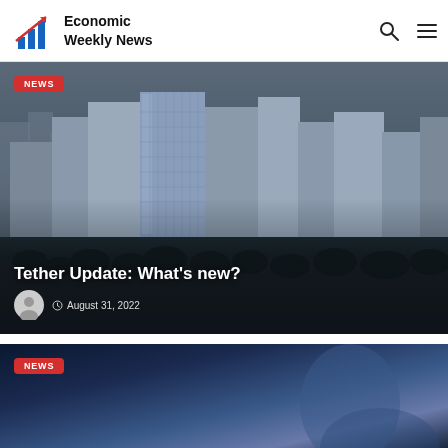Economic Weekly News
[Figure (photo): Aerial view of a city skyline with tall glass and concrete buildings, waterfront, dark moody sky. Article headline overlay: 'Tether Update: What's new?' with author avatar and date August 31, 2022. Red NEWS badge in top left.]
Tether Update: What's new?
August 31, 2022
[Figure (photo): Dark blue background with partial figure, red NEWS badge in top left corner. Second article card partially visible.]